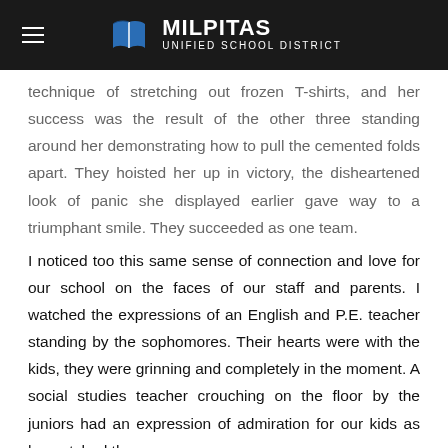Milpitas Unified School District
technique of stretching out frozen T-shirts, and her success was the result of the other three standing around her demonstrating how to pull the cemented folds apart. They hoisted her up in victory, the disheartened look of panic she displayed earlier gave way to a triumphant smile. They succeeded as one team.
I noticed too this same sense of connection and love for our school on the faces of our staff and parents. I watched the expressions of an English and P.E. teacher standing by the sophomores. Their hearts were with the kids, they were grinning and completely in the moment. A social studies teacher crouching on the floor by the juniors had an expression of admiration for our kids as he watched them